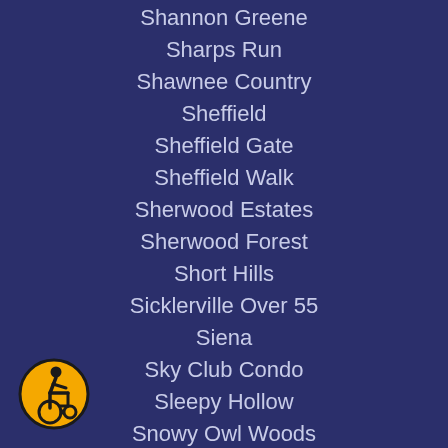Shannon Greene
Sharps Run
Shawnee Country
Sheffield
Sheffield Gate
Sheffield Walk
Sherwood Estates
Sherwood Forest
Short Hills
Sicklerville Over 55
Siena
Sky Club Condo
Sleepy Hollow
Snowy Owl Woods
Society Hill
Spring Lake
Spring Lake Farms
[Figure (illustration): Wheelchair accessibility icon: yellow circle with black border containing a stylized figure in a wheelchair]